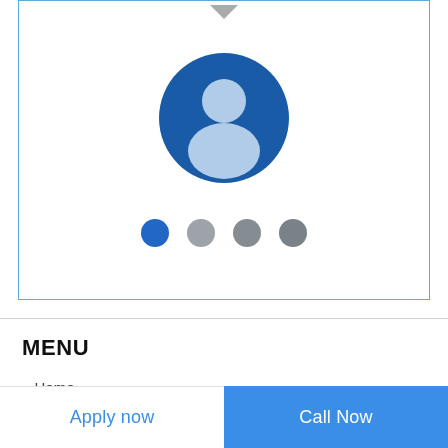[Figure (illustration): A user profile avatar icon inside a bordered card. The avatar shows a dark blue circle with a light blue person silhouette (head and shoulders). Below the avatar are four pagination dots: one filled blue dot and three grey dots. A small grey downward arrow is at the top center of the card.]
MENU
» Home
Apply now   Call Now